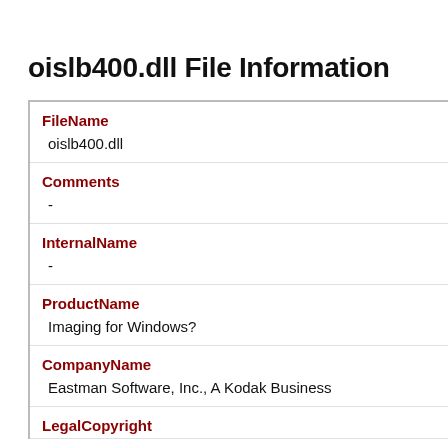oislb400.dll File Information
| Field | Value |
| --- | --- |
| FileName | oislb400.dll |
| Comments | - |
| InternalName | - |
| ProductName | Imaging for Windows? |
| CompanyName | Eastman Software, Inc., A Kodak Business |
| LegalCopyright |  |